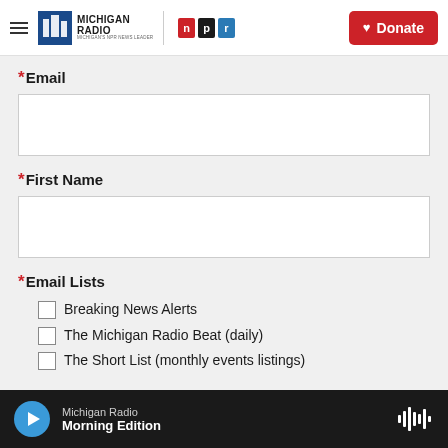Michigan Radio | NPR | Donate
*Email
Email input field
*First Name
First Name input field
*Email Lists
Breaking News Alerts
The Michigan Radio Beat (daily)
The Short List (monthly events listings)
Michigan Radio — Morning Edition